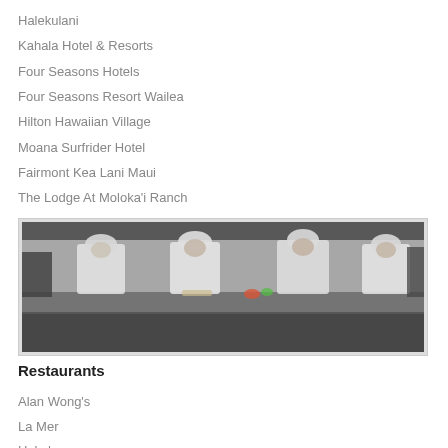Halekulani
Kahala Hotel & Resorts
Four Seasons Hotels
Four Seasons Resort Wailea
Hilton Hawaiian Village
Moana Surfrider Hotel
Fairmont Kea Lani Maui
The Lodge At Moloka'i Ranch
Grand Wailea Resort
Waikiki Beach Tower
[Figure (photo): Chefs in white uniforms and chef hats working in a professional kitchen, viewed through a pass-through window or opening. The image is slightly blurred/bokeh with dark foreground elements framing the scene.]
Restaurants
Alan Wong's
La Mer
Hoku's
Chef Mo...